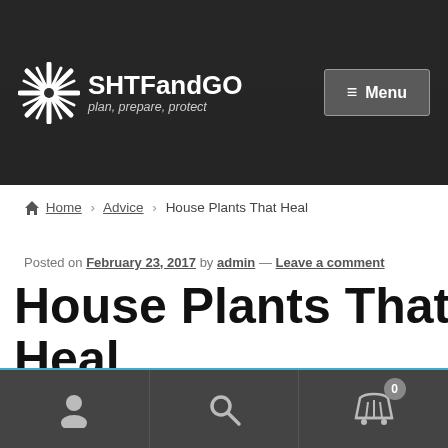SHTFandGO — plan, prepare, protect
Home › Advice › House Plants That Heal
Posted on February 23, 2017 by admin — Leave a comment
House Plants That Heal
By using this site you accept our robot overlords are watching you. :) Many water products are out of stock. We are waiting for parts. Dismiss